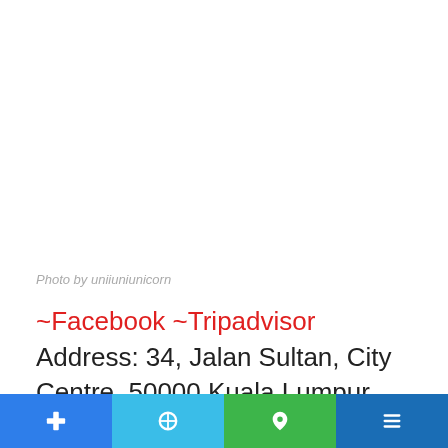[Figure (photo): White/blank photo area]
Photo by uniiuniunicorn
~Facebook ~Tripadvisor
Address: 34, Jalan Sultan, City Centre, 50000 Kuala Lumpur, Wilayah Persekutuan Kuala Lumpur
[Figure (other): Bottom navigation bar with four colored buttons containing icons]